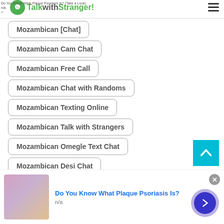TalkwithStranger!
Mozambican Cam Chat
Mozambican Free Call
Mozambican Chat with Randoms
Mozambican Texting Online
Mozambican Talk with Strangers
Mozambican Omegle Text Chat
Mozambican Desi Chat
Mozambican Phone Call
Do You Know What Plaque Psoriasis Is?
n/a